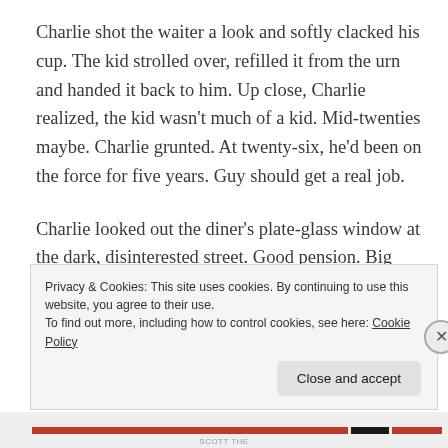Charlie shot the waiter a look and softly clacked his cup. The kid strolled over, refilled it from the urn and handed it back to him. Up close, Charlie realized, the kid wasn't much of a kid. Mid-twenties maybe. Charlie grunted. At twenty-six, he'd been on the force for five years. Guy should get a real job.
Charlie looked out the diner's plate-glass window at the dark, disinterested street. Good pension. Big thanks. What did you do when you got cut loose? What the hell did you do? Kid's got his whole life and he wastes it, like
Privacy & Cookies: This site uses cookies. By continuing to use this website, you agree to their use.
To find out more, including how to control cookies, see here: Cookie Policy
Close and accept